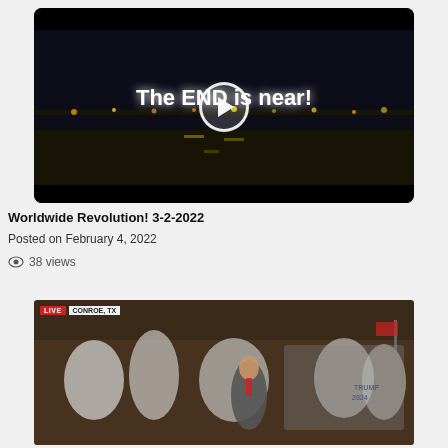[Figure (screenshot): Video thumbnail showing a nighttime airport/runway scene with text overlay 'The END is near!' and a play button in the center. Black bars at top and bottom.]
Worldwide Revolution! 3-2-2022
Posted on February 4, 2022
38 views
[Figure (screenshot): Video thumbnail showing a political rally scene in Conroe, TX with a LIVE broadcast indicator. A crowd of people wearing white T-shirts visible, with a figure speaking at a podium.]